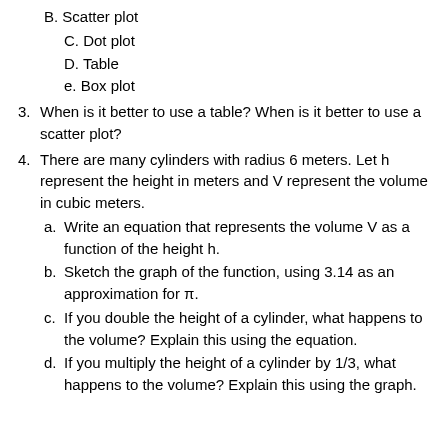B. Scatter plot
C. Dot plot
D. Table
e. Box plot
3. When is it better to use a table? When is it better to use a scatter plot?
4. There are many cylinders with radius 6 meters. Let h represent the height in meters and V represent the volume in cubic meters.
a. Write an equation that represents the volume V as a function of the height h.
b. Sketch the graph of the function, using 3.14 as an approximation for π.
c. If you double the height of a cylinder, what happens to the volume? Explain this using the equation.
d. If you multiply the height of a cylinder by 1/3, what happens to the volume? Explain this using the graph.